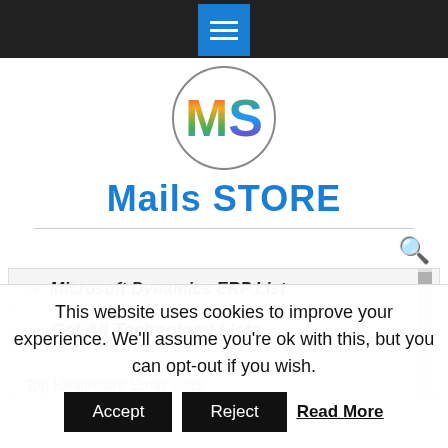[Figure (logo): Hamburger menu button (blue square with three white lines) in dark top navigation bar]
[Figure (logo): Circular logo with colorful rainbow-gradient letters MS]
Mails STORE
→ Microsoft Dynamics ERP List
→ Get All Technology Lists
Top Healthcare Email Lists
This website uses cookies to improve your experience. We'll assume you're ok with this, but you can opt-out if you wish.
Accept   Reject   Read More